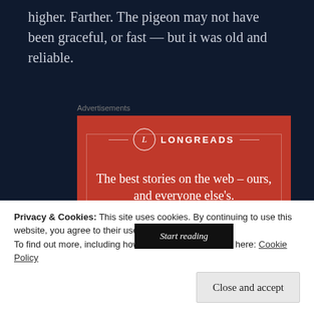higher. Farther. The pigeon may not have been graceful, or fast — but it was old and reliable.
[Figure (screenshot): Longreads advertisement banner with red background, logo, tagline 'The best stories on the web – ours, and everyone else's.' and a 'Start reading' button]
Privacy & Cookies: This site uses cookies. By continuing to use this website, you agree to their use.
To find out more, including how to control cookies, see here: Cookie Policy